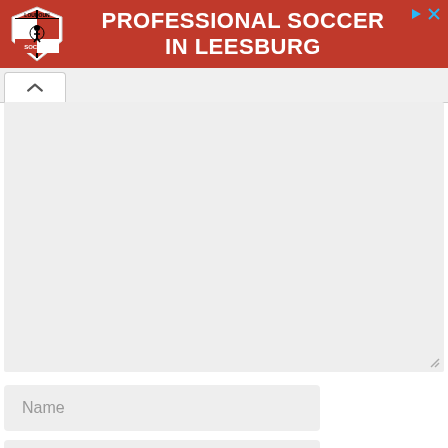[Figure (infographic): Red banner advertisement for Loudoun Soccer club showing shield logo on left and text 'PROFESSIONAL SOCCER IN LEESBURG' in white bold uppercase letters on red background. Small play/close icons in top right corner.]
^
[Figure (screenshot): Large light gray empty textarea input box with resize handle in bottom right corner]
Name
Email